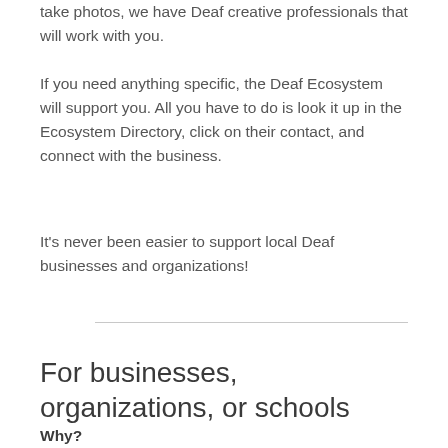take photos, we have Deaf creative professionals that will work with you.
If you need anything specific, the Deaf Ecosystem will support you. All you have to do is look it up in the Ecosystem Directory, click on their contact, and connect with the business.
It's never been easier to support local Deaf businesses and organizations!
For businesses, organizations, or schools
Why?
This directory will be an ever-single Coerce, category...